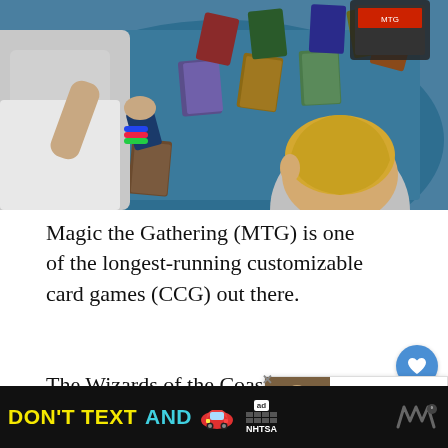[Figure (photo): Overhead view of two children playing Magic: The Gathering card game on a blue table surface covered with trading cards]
Magic the Gathering (MTG) is one of the longest-running customizable card games (CCG) out there.
The Wizards of the Coast product features set rotation that phases out the oldest sets to make room for the newest, ensuring a fresh ex...
[Figure (photo): What's Next overlay: thumbnail image with text 'What is the Best Pokem...']
[Figure (photo): Ad banner: DON'T TEXT AND DRIVE - NHTSA advertisement with car emoji]